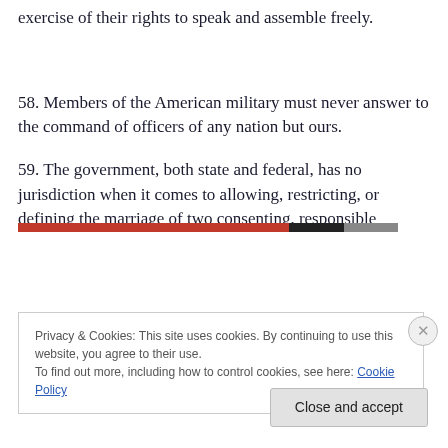exercise of their rights to speak and assemble freely.
58. Members of the American military must never answer to the command of officers of any nation but ours.
59. The government, both state and federal, has no jurisdiction when it comes to allowing, restricting, or defining the marriage of two consenting, responsible
Privacy & Cookies: This site uses cookies. By continuing to use this website, you agree to their use.
To find out more, including how to control cookies, see here: Cookie Policy
Close and accept